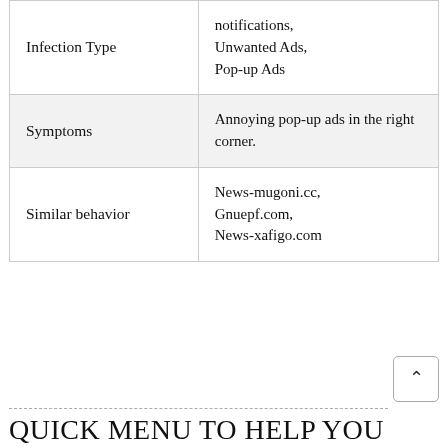|  |  |
| --- | --- |
| Infection Type | notifications, Unwanted Ads, Pop-up Ads |
| Symptoms | Annoying pop-up ads in the right corner. |
| Similar behavior | News-mugoni.cc, Gnuepf.com, News-xafigo.com |
QUICK MENU TO HELP YOU